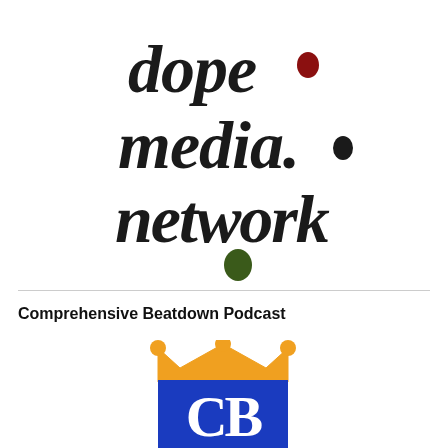[Figure (logo): Dope Media Network logo — stylized hand-drawn text reading 'dope media. network' with colored dots: dark red dot above 'e' in 'dope', dark olive/black dot after 'media.', and dark green dot below 'network']
Comprehensive Beatdown Podcast
[Figure (logo): Comprehensive Beatdown Podcast logo — orange crown above a blue rectangle with white interlocking letters 'CB']